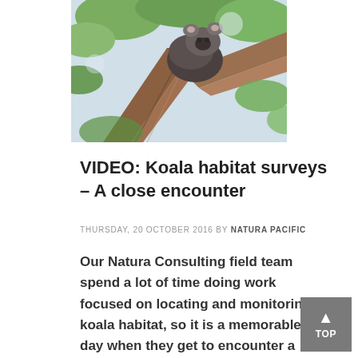[Figure (photo): Close-up photo of a koala in a tree among green leaves and tree bark]
VIDEO: Koala habitat surveys – A close encounter
THURSDAY, 20 OCTOBER 2016 BY NATURA PACIFIC
Our Natura Consulting field team spend a lot of time doing work focused on locating and monitoring koala habitat, so it is a memorable day when they get to encounter a koala using the habitat they are so familiar with. One of our consultants, Mick recently had this pleasure and